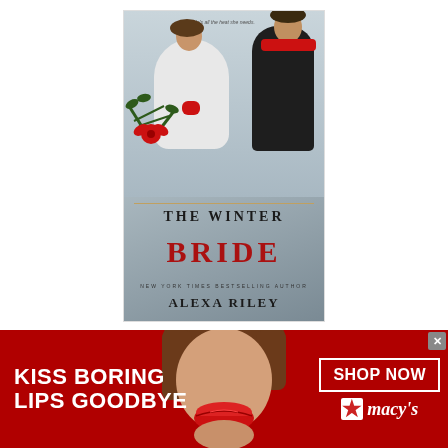[Figure (illustration): Book cover of 'The Winter Bride' by Alexa Riley (New York Times Bestselling Author). Shows a couple embracing in winter clothing — woman in white fur wrap with red mittens, man in dark coat with red scarf. Holly and pine decoration in lower left. Title text: THE WINTER BRIDE in large serif font, BRIDE in red. Tagline at top: 'He's all the heat she needs.']
Genre: Alpha Male, Billionaire, Erotic, Insta-Love, Romance, Virgin
[Figure (photo): Macy's advertisement banner with red background. Left side: white bold text 'KISS BORING LIPS GOODBYE'. Center: close-up photo of a woman's face with red lips. Right side: white outlined button 'SHOP NOW' and Macy's logo with red star. Close button (x) in gray at top right.]